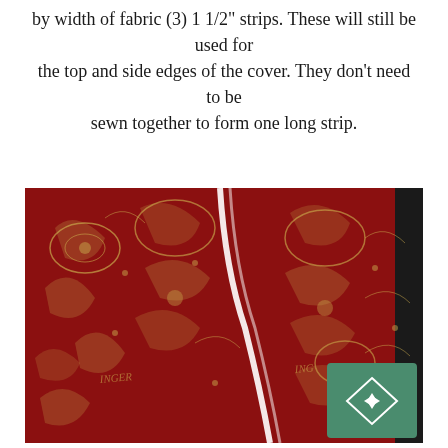by width of fabric (3) 1 1/2" strips. These will still be used for the top and side edges of the cover. They don't need to be sewn together to form one long strip.
[Figure (photo): A red and gold ornate floral/paisley patterned fabric piece folded and laid on a dark surface, showing a white binding or seam along the diagonal fold. A green and white logo watermark appears in the bottom-right corner.]